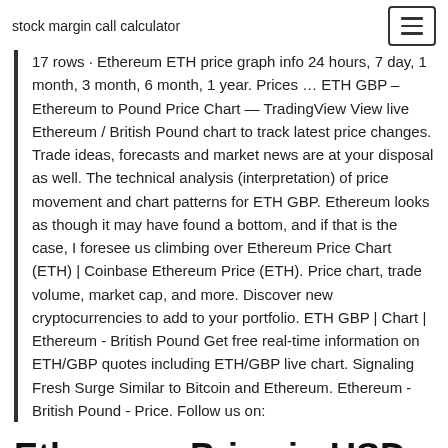stock margin call calculator
17 rows · Ethereum ETH price graph info 24 hours, 7 day, 1 month, 3 month, 6 month, 1 year. Prices … ETH GBP – Ethereum to Pound Price Chart — TradingView View live Ethereum / British Pound chart to track latest price changes. Trade ideas, forecasts and market news are at your disposal as well. The technical analysis (interpretation) of price movement and chart patterns for ETH GBP. Ethereum looks as though it may have found a bottom, and if that is the case, I foresee us climbing over Ethereum Price Chart (ETH) | Coinbase Ethereum Price (ETH). Price chart, trade volume, market cap, and more. Discover new cryptocurrencies to add to your portfolio. ETH GBP | Chart | Ethereum - British Pound Get free real-time information on ETH/GBP quotes including ETH/GBP live chart. Signaling Fresh Surge Similar to Bitcoin and Ethereum. Ethereum - British Pound - Price. Follow us on:
Ethereum Price in USD